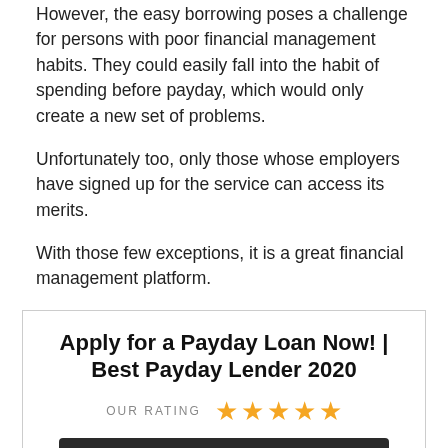However, the easy borrowing poses a challenge for persons with poor financial management habits. They could easily fall into the habit of spending before payday, which would only create a new set of problems.
Unfortunately too, only those whose employers have signed up for the service can access its merits.
With those few exceptions, it is a great financial management platform.
[Figure (infographic): Advertisement box for Viva Payday Loans with title 'Apply for a Payday Loan Now! | Best Payday Lender 2020', five gold stars rating labeled 'OUR RATING', and Viva Payday Loans logo on dark background with green leaf icon.]